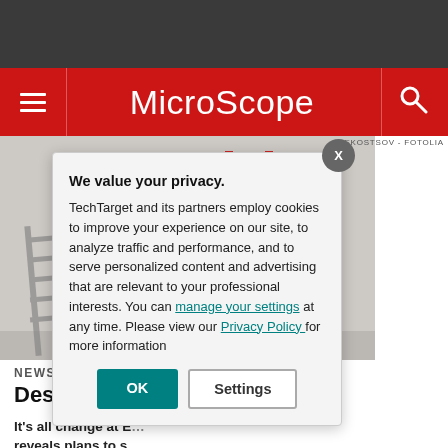MicroScope
[Figure (photo): Multiple grey metal ladders with one red ladder standing taller among them, against a light grey background]
EKOSTSOV - FOTOLIA
NEWS
Desmond ca... Networks
It's all change at E... reveals plans to s...
We value your privacy. TechTarget and its partners employ cookies to improve your experience on our site, to analyze traffic and performance, and to serve personalized content and advertising that are relevant to your professional interests. You can manage your settings at any time. Please view our Privacy Policy for more information